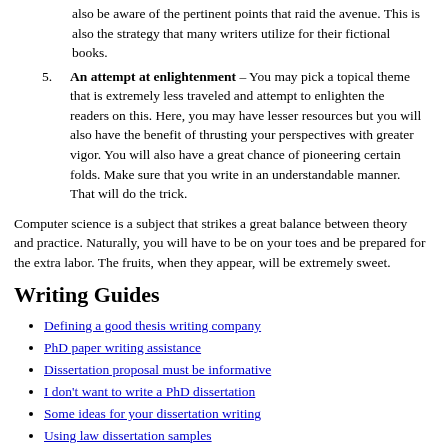also be aware of the pertinent points that raid the avenue. This is also the strategy that many writers utilize for their fictional books.
5. An attempt at enlightenment – You may pick a topical theme that is extremely less traveled and attempt to enlighten the readers on this. Here, you may have lesser resources but you will also have the benefit of thrusting your perspectives with greater vigor. You will also have a great chance of pioneering certain folds. Make sure that you write in an understandable manner. That will do the trick.
Computer science is a subject that strikes a great balance between theory and practice. Naturally, you will have to be on your toes and be prepared for the extra labor. The fruits, when they appear, will be extremely sweet.
Writing Guides
Defining a good thesis writing company
PhD paper writing assistance
Dissertation proposal must be informative
I don't want to write a PhD dissertation
Some ideas for your dissertation writing
Using law dissertation samples
Trustworthy help with dissertation writing